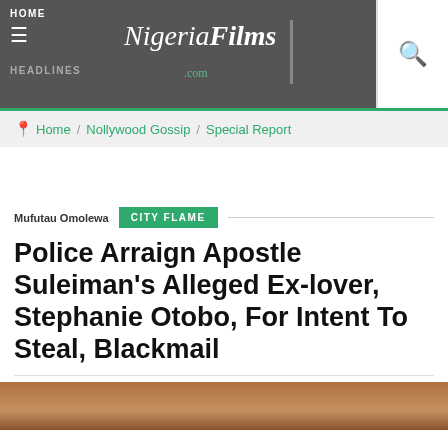HOME | NigeriaFilms.com | HEADLINES
Home / Nollywood Gossip / Special Report
Mufutau Omolewa  CITY FLAME
Police Arraign Apostle Suleiman's Alleged Ex-lover, Stephanie Otobo, For Intent To Steal, Blackmail
[Figure (photo): Photo of Stephanie Otobo at bottom of page]